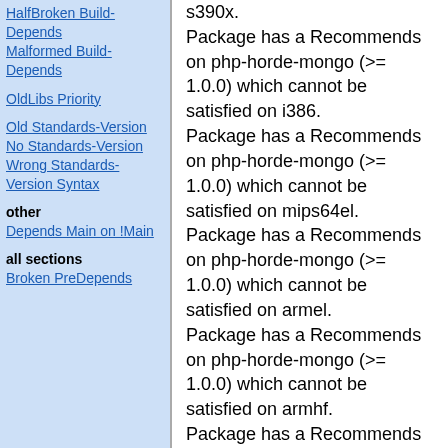HalfBroken Build-Depends
Malformed Build-Depends
OldLibs Priority
Old Standards-Version
No Standards-Version
Wrong Standards-Version Syntax
other
Depends Main on !Main
all sections
Broken PreDepends
s390x.
Package has a Recommends on php-horde-mongo (>= 1.0.0) which cannot be satisfied on i386.
Package has a Recommends on php-horde-mongo (>= 1.0.0) which cannot be satisfied on mips64el.
Package has a Recommends on php-horde-mongo (>= 1.0.0) which cannot be satisfied on armel.
Package has a Recommends on php-horde-mongo (>= 1.0.0) which cannot be satisfied on armhf.
Package has a Recommends on php-horde-mongo (>= 1.0.0) which cannot be satisfied on mipsel.
Package has a Recommends on php-horde-mongo (>= 1.0.0) which cannot be satisfied on